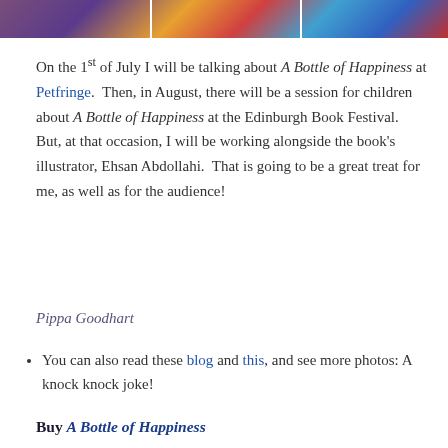[Figure (photo): Strip of three photos showing children or people at an event, separated by white dividers]
On the 1st of July I will be talking about A Bottle of Happiness at Petfringe.  Then, in August, there will be a session for children about A Bottle of Happiness at the Edinburgh Book Festival.  But, at that occasion, I will be working alongside the book's illustrator, Ehsan Abdollahi.  That is going to be a great treat for me, as well as for the audience!
Pippa Goodhart
You can also read these blog and this, and see more photos: A knock knock joke!
Buy A Bottle of Happiness